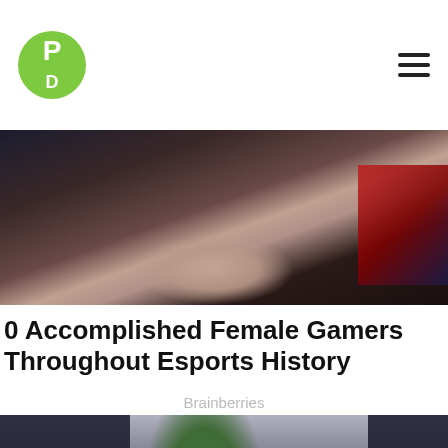PD (logo)
[Figure (photo): Close-up photo of a woman's face with dark hair, wearing headphones, with red and blue background colors]
0 Accomplished Female Gamers Throughout Esports History
Brainberries
[Figure (photo): A woman in a green velvet outfit with ornate white embellishments walks outdoors surrounded by bodyguards, with European-style building in background]